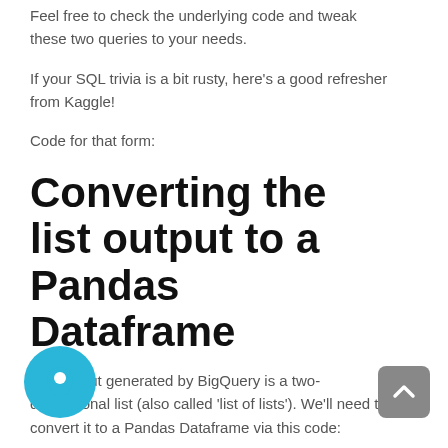Feel free to check the underlying code and tweak these two queries to your needs.
If your SQL trivia is a bit rusty, here's a good refresher from Kaggle!
Code for that form:
Converting the list output to a Pandas Dataframe
The output generated by BigQuery is a two-dimensional list (also called 'list of lists'). We'll need to convert it to a Pandas Dataframe via this code:
We now have a Dataframe that can be wrangled in Pandas!